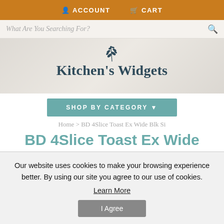ACCOUNT   CART
What Are You Searching For?
[Figure (logo): Kitchen's Widgets logo with decorative sprig/branch illustration above text]
SHOP BY CATEGORY
Home > BD 4Slice Toast Ex Wide Blk Si
BD 4Slice Toast Ex Wide Blk Si
Our website uses cookies to make your browsing experience better. By using our site you agree to our use of cookies. Learn More
I Agree